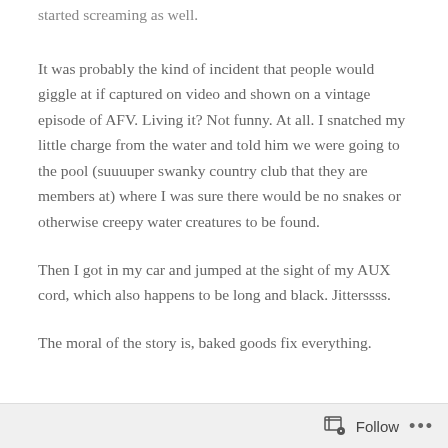started screaming as well.
It was probably the kind of incident that people would giggle at if captured on video and shown on a vintage episode of AFV. Living it? Not funny. At all. I snatched my little charge from the water and told him we were going to the pool (suuuuper swanky country club that they are members at) where I was sure there would be no snakes or otherwise creepy water creatures to be found.
Then I got in my car and jumped at the sight of my AUX cord, which also happens to be long and black. Jitterssss.
The moral of the story is, baked goods fix everything.
Follow ...